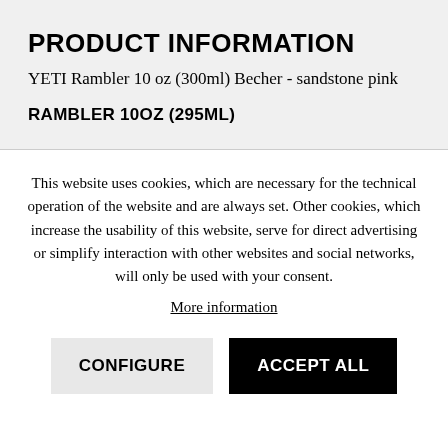PRODUCT INFORMATION
YETI Rambler 10 oz (300ml) Becher - sandstone pink
RAMBLER 10OZ (295ML)
This website uses cookies, which are necessary for the technical operation of the website and are always set. Other cookies, which increase the usability of this website, serve for direct advertising or simplify interaction with other websites and social networks, will only be used with your consent.
More information
CONFIGURE
ACCEPT ALL